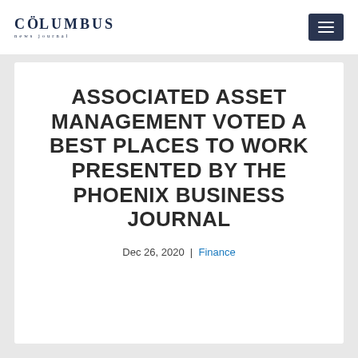COLUMBUS News Journal
ASSOCIATED ASSET MANAGEMENT VOTED A BEST PLACES TO WORK PRESENTED BY THE PHOENIX BUSINESS JOURNAL
Dec 26, 2020 | Finance